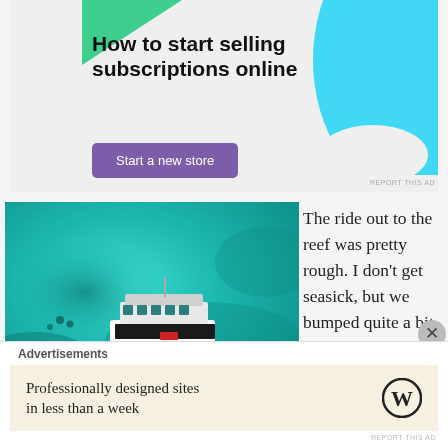[Figure (infographic): Advertisement banner: 'How to start selling subscriptions online' with a purple 'Start a new store' button, green triangle top-left decoration, cyan blob top-right, on light gray background]
REPORT THIS AD
[Figure (photo): Aerial photo of a white catamaran boat on bright turquoise/teal reef waters]
The ride out to the reef was pretty rough. I don't get seasick, but we bumped quite a bit, probably because
Advertisements
[Figure (infographic): WordPress advertisement: 'Professionally designed sites in less than a week' with WordPress W logo on cream/beige background]
REPORT THIS AD